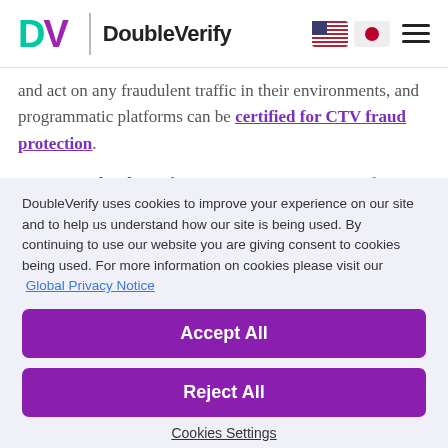[Figure (logo): DoubleVerify logo with DV letters in teal/green and purple, followed by divider and DoubleVerify text. US and Japan flag icons and hamburger menu on right.]
and act on any fraudulent traffic in their environments, and programmatic platforms can be certified for CTV fraud protection.
DV's Fraud Lab employs a rigorous process to evaluate and identify ad fraud. At any given time, we are monitoring hundreds of data points on every impression – analyzing
DoubleVerify uses cookies to improve your experience on our site and to help us understand how our site is being used. By continuing to use our website you are giving consent to cookies being used. For more information on cookies please visit our  Global Privacy Notice
Accept All
Reject All
Cookies Settings